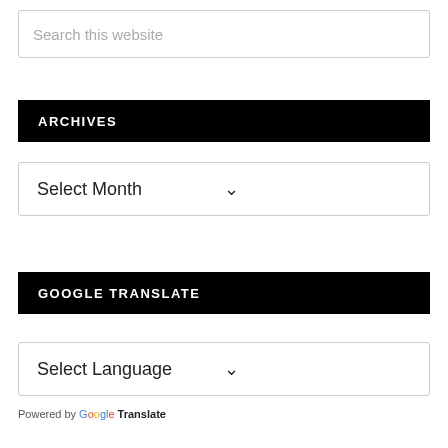Search this website
ARCHIVES
Select Month
GOOGLE TRANSLATE
Select Language
Powered by Google Translate